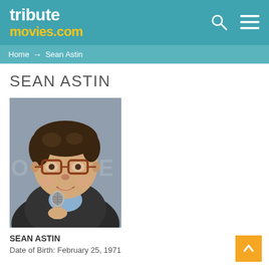tributemovies.com
Home → Sean Astin
SEAN ASTIN
[Figure (photo): Photo of Sean Astin holding a microphone, wearing glasses and a dark sweater, at what appears to be a convention panel]
SEAN ASTIN
Date of Birth: February 25, 1971